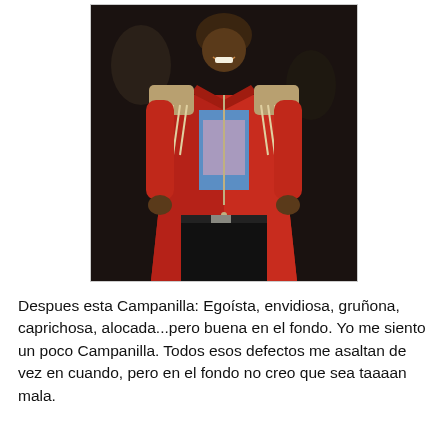[Figure (photo): A person wearing a red leather jacket with decorative zipper details and shoulder patches, a blue graphic t-shirt visible underneath, and black pants. The person is smiling and posing against a dark background. The photo is bordered with a thin gray border.]
Despues esta Campanilla: Egoísta, envidiosa, gruñona, caprichosa, alocada...pero buena en el fondo. Yo me siento un poco Campanilla. Todos esos defectos me asaltan de vez en cuando, pero en el fondo no creo que sea taaaan mala.